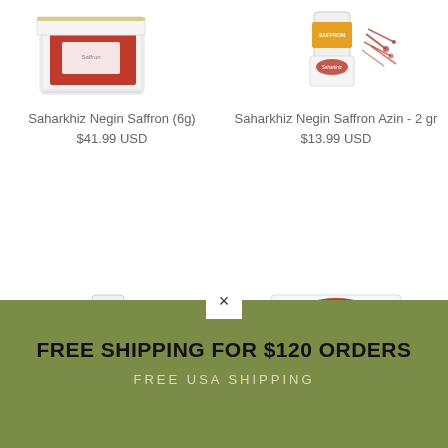[Figure (photo): Saharkhiz saffron gift box product image - top left]
[Figure (photo): Saharkhiz Negin Saffron Azin bottle with saffron threads - top right]
Saharkhiz Negin Saffron (6g)
$41.99 USD
Saharkhiz Negin Saffron Azin - 2 gr
$13.99 USD
[Figure (photo): Saharkhiz saffron small bottle product - bottom left]
[Figure (photo): Saharkhiz tea box product - bottom right]
×
FREE SHIPPING FOR $120 ORDERS
FREE USA SHIPPING